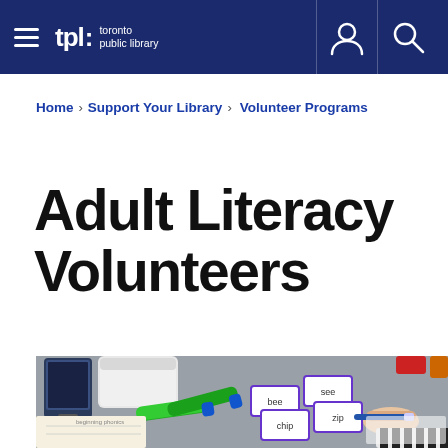tpl: toronto public library
Home > Support Your Library > Volunteer Programs
Adult Literacy Volunteers
[Figure (photo): A table with literacy learning materials: word cards with purple borders (showing words like 'bee', 'chip', 'zip', 'see'), green markers, a tablet device on a stand, a white storage container, and a hand holding a blue pen over a workbook. A person in striped sleeves is writing on paper.]